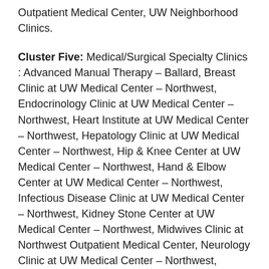Outpatient Medical Center, UW Neighborhood Clinics.
Cluster Five: Medical/Surgical Specialty Clinics : Advanced Manual Therapy – Ballard, Breast Clinic at UW Medical Center – Northwest, Endocrinology Clinic at UW Medical Center – Northwest, Heart Institute at UW Medical Center – Northwest, Hepatology Clinic at UW Medical Center – Northwest, Hip & Knee Center at UW Medical Center – Northwest, Hand & Elbow Center at UW Medical Center – Northwest, Infectious Disease Clinic at UW Medical Center – Northwest, Kidney Stone Center at UW Medical Center – Northwest, Midwives Clinic at Northwest Outpatient Medical Center, Neurology Clinic at UW Medical Center – Northwest, Neurosurgery & Spine Clinic at UW Medical Center – Northwest, Otolaryngology Clinic at UW Medical Center – Northwest, Plastic and Aesthetic Surgery Clinic at UW Medical Center